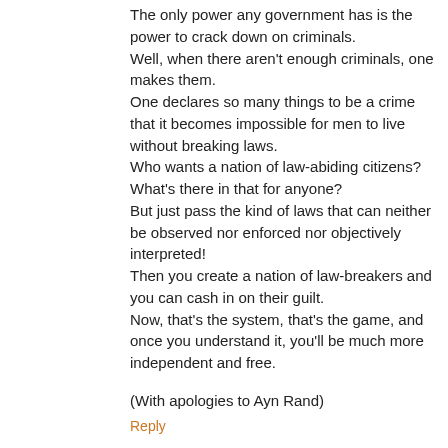The only power any government has is the power to crack down on criminals. Well, when there aren't enough criminals, one makes them. One declares so many things to be a crime that it becomes impossible for men to live without breaking laws. Who wants a nation of law-abiding citizens? What's there in that for anyone? But just pass the kind of laws that can neither be observed nor enforced nor objectively interpreted! Then you create a nation of law-breakers and you can cash in on their guilt. Now, that's the system, that's the game, and once you understand it, you'll be much more independent and free.
(With apologies to Ayn Rand)
Reply
Anonymous 2:16 PM
"The rules dictate that you must be precise as the law is a precise endeavor" - Suits